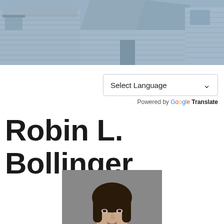[Figure (photo): Header background photo of residential houses with a blue-tinted overlay, showing rooftops and siding of suburban homes.]
Select Language ∨
Powered by Google Translate
Robin L. Bollinger
[Figure (photo): Professional headshot portrait of Robin L. Bollinger, a woman with dark hair against a gray background.]